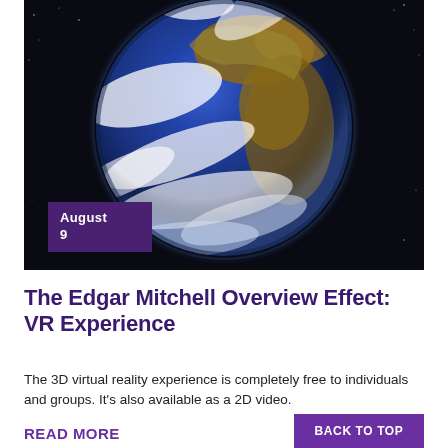[Figure (photo): Photograph of Earth from space against a black starry background, showing continents and cloud formations, blue oceans visible. A purple date badge overlaid at bottom left reads 'August 9'.]
The Edgar Mitchell Overview Effect: VR Experience
The 3D virtual reality experience is completely free to individuals and groups. It's also available as a 2D video.
READ MORE